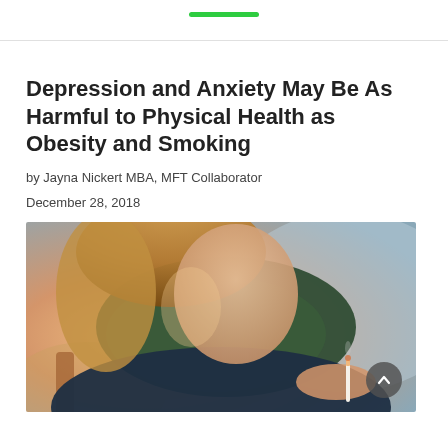Depression and Anxiety May Be As Harmful to Physical Health as Obesity and Smoking
by Jayna Nickert MBA, MFT Collaborator
December 28, 2018
[Figure (photo): Close-up photo of a woman wearing a dark green scarf and jacket, holding a cigarette. Image is warm-toned with a blurred background.]